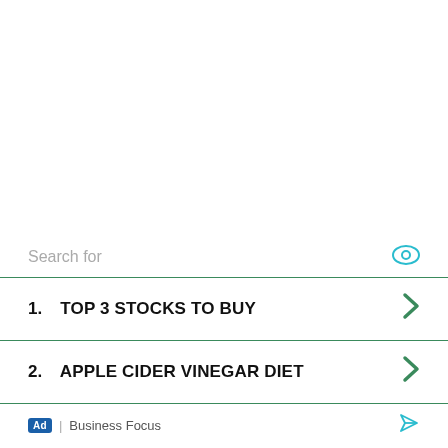Search for
1.  TOP 3 STOCKS TO BUY
2.  APPLE CIDER VINEGAR DIET
Ad | Business Focus